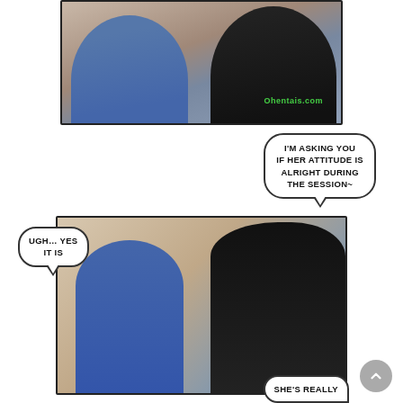[Figure (illustration): Top manga/manhwa panel showing two characters close together. Left character in blue shirt, right character in black shirt with 'Ohentais.com' watermark. Intimate scene with one character touching the other's face.]
I'M ASKING YOU IF HER ATTITUDE IS ALRIGHT DURING THE SESSION~
[Figure (illustration): Bottom manhwa panel showing a young man with black hair in blue shirt on the left, and a woman with long black hair on the right, both in an interior setting.]
UGH... YES IT IS
SHE'S REALLY